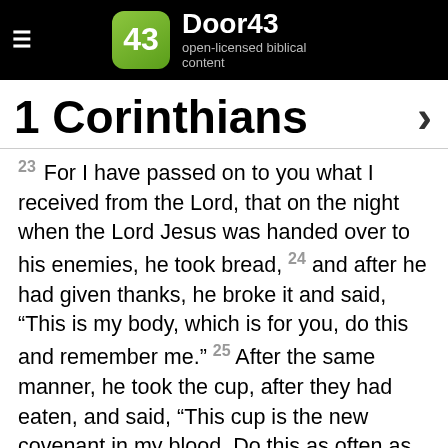Door43 — open-licensed biblical content
1 Corinthians
23 For I have passed on to you what I received from the Lord, that on the night when the Lord Jesus was handed over to his enemies, he took bread, 24 and after he had given thanks, he broke it and said, “This is my body, which is for you, do this and remember me.” 25 After the same manner, he took the cup, after they had eaten, and said, “This cup is the new covenant in my blood. Do this as often as you drink it, remember me.” 26 For every